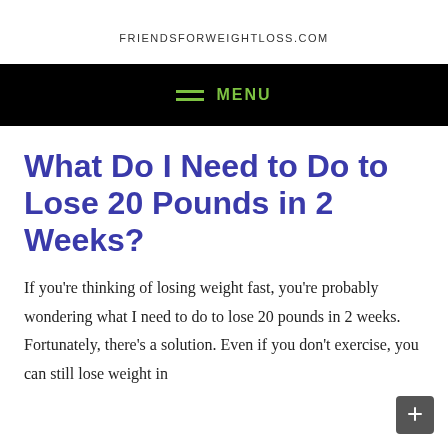FRIENDSFORWEIGHTLOSS.COM
What Do I Need to Do to Lose 20 Pounds in 2 Weeks?
If you're thinking of losing weight fast, you're probably wondering what I need to do to lose 20 pounds in 2 weeks. Fortunately, there's a solution. Even if you don't exercise, you can still lose weight in